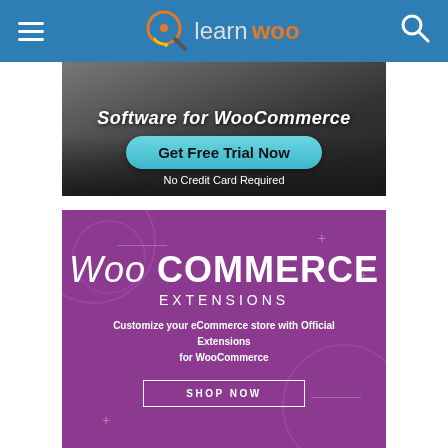[Figure (screenshot): LearnWoo website navigation bar with hamburger menu, LearnWoo logo (magnifying glass icon with 'learn' in gray and 'woo' in orange), and search icon on blue background]
[Figure (screenshot): Dark banner advertisement showing 'Software for WooCommerce' text with a 'Get Free Trial Now' teal button and 'No Credit Card Required' subtitle]
[Figure (screenshot): Purple WooCommerce Extensions promotional banner showing 'Woo COMMERCE' logo, 'EXTENSIONS' subtitle, 'Customize your eCommerce store with Official Extensions for WooCommerce' text, and 'SHOP NOW' button]